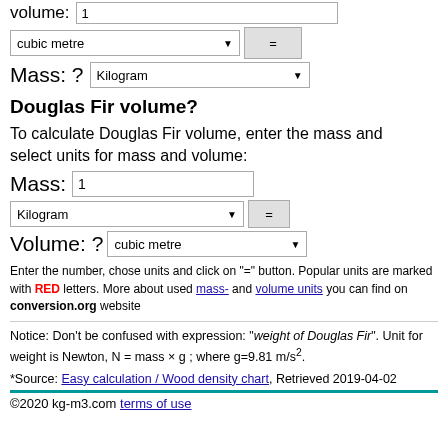volume: 1
cubic metre = [dropdown]
Mass: ? Kilogram [dropdown]
Douglas Fir volume?
To calculate Douglas Fir volume, enter the mass and select units for mass and volume:
Mass: 1
Kilogram = [button]
Volume: ? cubic metre [dropdown]
Enter the number, chose units and click on "=" button. Popular units are marked with RED letters. More about used mass- and volume units you can find on conversion.org website
Notice: Don't be confused with expression: "weight of Douglas Fir". Unit for weight is Newton, N = mass × g ; where g=9.81 m/s².
*Source: Easy calculation / Wood density chart, Retrieved 2019-04-02
©2020 kg-m3.com terms of use